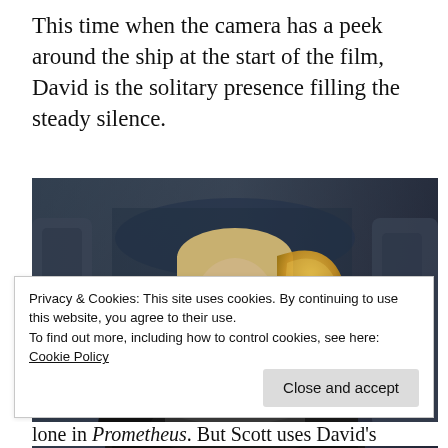This time when the camera has a peek around the ship at the start of the film, David is the solitary presence filling the steady silence.
[Figure (photo): A man in a black robotic/space suit with a gold helmet piece, leaning over a dark metallic container, set in a dim atmospheric environment — a still from the film Prometheus featuring the android David.]
Privacy & Cookies: This site uses cookies. By continuing to use this website, you agree to their use.
To find out more, including how to control cookies, see here:
Cookie Policy
Close and accept
lone in Prometheus. But Scott uses David's